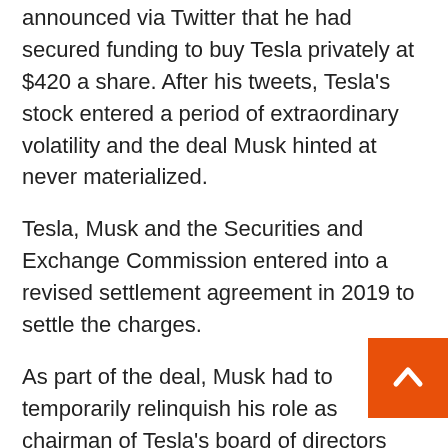announced via Twitter that he had secured funding to buy Tesla privately at $420 a share. After his tweets, Tesla's stock entered a period of extraordinary volatility and the deal Musk hinted at never materialized.
Tesla, Musk and the Securities and Exchange Commission entered into a revised settlement agreement in 2019 to settle the charges.
As part of the deal, Musk had to temporarily relinquish his role as chairman of Tesla's board of directors and pay a $20 million fine individually. Tesla also had to pay a $20 million fine. Musk and Tesla agreed that the famous CEO would have the content of his social media posts approved by a securities law expert before they are published on events that contain material business information.
The ...